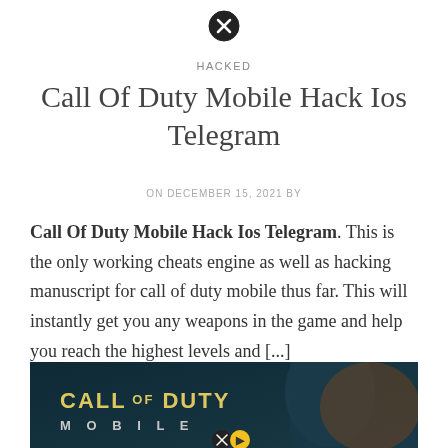[Figure (other): Close/X button icon at top center]
HACKED
Call Of Duty Mobile Hack Ios Telegram
ON DECEMBER 15, 2021 BY
Call Of Duty Mobile Hack Ios Telegram. This is the only working cheats engine as well as hacking manuscript for call of duty mobile thus far. This will instantly get you any weapons in the game and help you reach the highest levels and [...]
[Figure (photo): Call of Duty Mobile game promotional image with soldier and game logo]